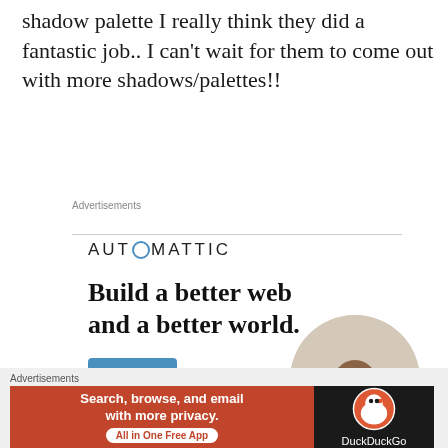shadow palette I really think they did a fantastic job.. I can't wait for them to come out with more shadows/palettes!!
Advertisements
[Figure (infographic): Automattic advertisement banner with logo, text 'Build a better web and a better world.', Apply button, and circular photo of a person thinking]
[Figure (infographic): DuckDuckGo advertisement: orange/red left panel saying 'Search, browse, and email with more privacy. All in One Free App' and dark right panel with DuckDuckGo logo]